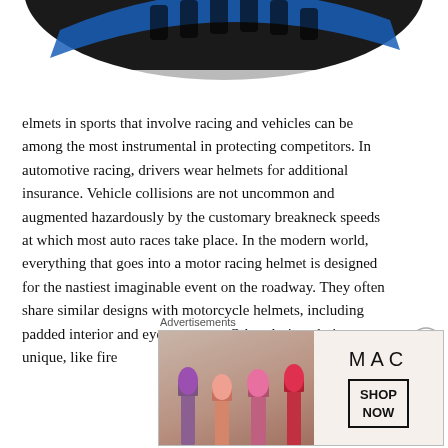[Figure (photo): Partial view of a black and blue sports/cycling helmet from above, cropped at the top of the page]
elmets in sports that involve racing and vehicles can be among the most instrumental in protecting competitors. In automotive racing, drivers wear helmets for additional insurance. Vehicle collisions are not uncommon and augmented hazardously by the customary breakneck speeds at which most auto races take place. In the modern world, everything that goes into a motor racing helmet is designed for the nastiest imaginable event on the roadway. They often share similar designs with motorcycle helmets, including padded interior and eye-coverage. Other design choices are unique, like fire
Advertisements
[Figure (photo): MAC Cosmetics advertisement banner showing lipsticks on the left and MAC logo with SHOP NOW button on the right]